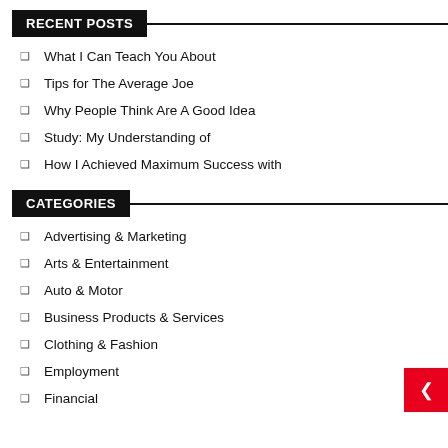RECENT POSTS
What I Can Teach You About
Tips for The Average Joe
Why People Think Are A Good Idea
Study: My Understanding of
How I Achieved Maximum Success with
CATEGORIES
Advertising & Marketing
Arts & Entertainment
Auto & Motor
Business Products & Services
Clothing & Fashion
Employment
Financial